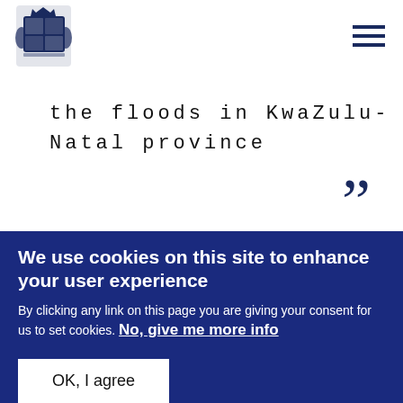Royal coat of arms logo and navigation menu
the floods in KwaZulu-Natal province
[Figure (photo): Group of six people in formal ceremonial dress standing in front of an ornate metal gate]
We use cookies on this site to enhance your user experience
By clicking any link on this page you are giving your consent for us to set cookies. No, give me more info
OK, I agree